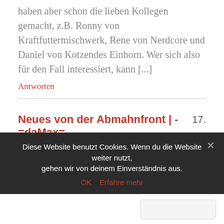haben aber schon die lieben Kollegen gemacht, z.B. Ronny von Kraftfuttermischwerk, Rene von Nerdcore und Daniel von Kotzendes Einhorn. Wer sich also für den Fall interessiert, kann [...]
Antworten
Neues von der Abmahnfront | -=daMax=-  17.
November 2012 at 12:27
[...] kfmw: Neues von der hgm-press OHG: und jetzt geht es um eine Morddrohung [...]
Antworten
Diese Website benutzt Cookies. Wenn du die Website weiter nutzt, gehen wir von deinem Einverständnis aus.
OK  Erfahre mehr